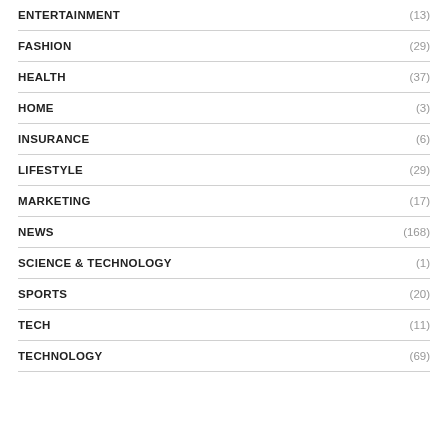ENTERTAINMENT (13)
FASHION (29)
HEALTH (37)
HOME (3)
INSURANCE (6)
LIFESTYLE (29)
MARKETING (17)
NEWS (168)
SCIENCE & TECHNOLOGY (1)
SPORTS (20)
TECH (11)
TECHNOLOGY (69)